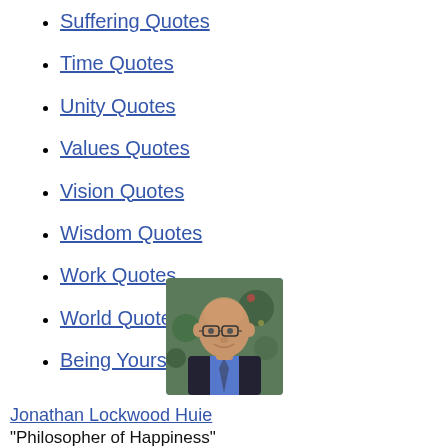Suffering Quotes
Time Quotes
Unity Quotes
Values Quotes
Vision Quotes
Wisdom Quotes
Work Quotes
World Quotes
Being Yourself Quotes
[Figure (photo): Headshot of Jonathan Lockwood Huie, a bald man with glasses wearing a dark suit and blue shirt, smiling, with a Christmas tree in the background.]
Jonathan Lockwood Huie
"Philosopher of Happiness"